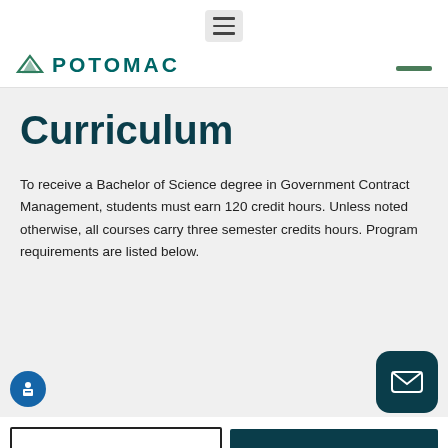POTOMAC
Curriculum
To receive a Bachelor of Science degree in Government Contract Management, students must earn 120 credit hours. Unless noted otherwise, all courses carry three semester credits hours. Program requirements are listed below.
APPLY NOW
REQUEST INFO